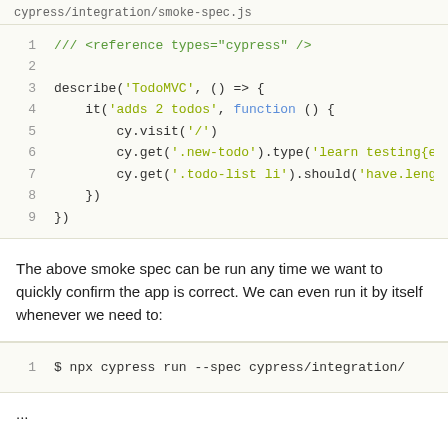[Figure (screenshot): Code block showing cypress/integration/smoke-spec.js with syntax-highlighted JavaScript/Cypress test code]
The above smoke spec can be run any time we want to quickly confirm the app is correct. We can even run it by itself whenever we need to:
[Figure (screenshot): Code block showing command: $ npx cypress run --spec cypress/integration/]
...